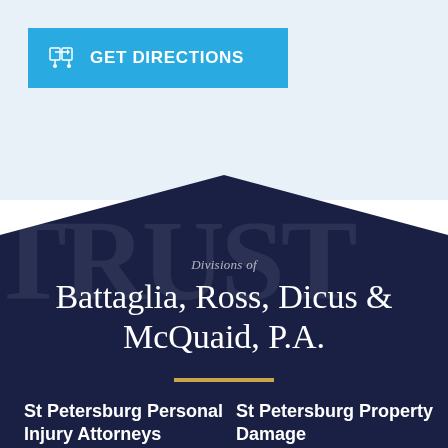[Figure (other): Blue 'GET DIRECTIONS' button with map/location icon on light blue background]
Divisions of
Battaglia, Ross, Dicus & McQuaid, P.A.
St Petersburg Personal Injury Attorneys
St Petersburg Property Damage